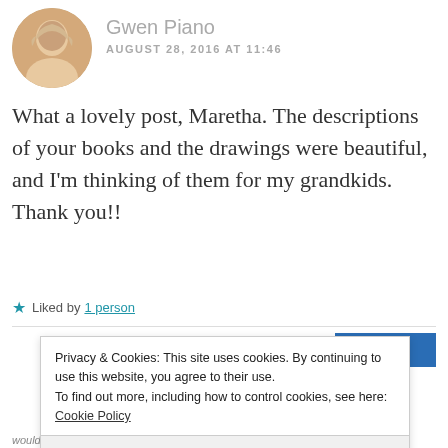Gwen Piano
AUGUST 28, 2016 AT 11:46
What a lovely post, Maretha. The descriptions of your books and the drawings were beautiful, and I'm thinking of them for my grandkids. Thank you!!
Liked by 1 person
REPLY
Privacy & Cookies: This site uses cookies. By continuing to use this website, you agree to their use.
To find out more, including how to control cookies, see here: Cookie Policy
Close and accept